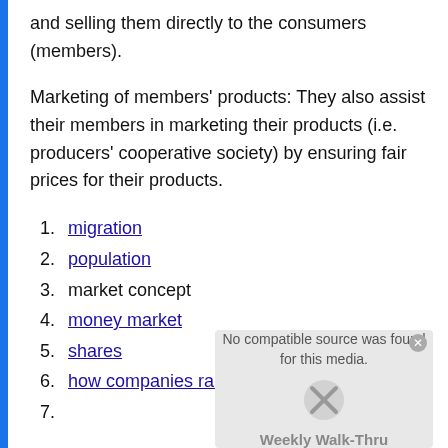and selling them directly to the consumers (members).
Marketing of members' products: They also assist their members in marketing their products (i.e. producers' cooperative society) by ensuring fair prices for their products.
1. migration
2. population
3. market concept
4. money market
5. shares
6. how companies raises funds for expansion
7.
[Figure (screenshot): Media player overlay showing 'No compatible source was found for this media.' with an error icon and 'Weekly Walk-Thru' branding]